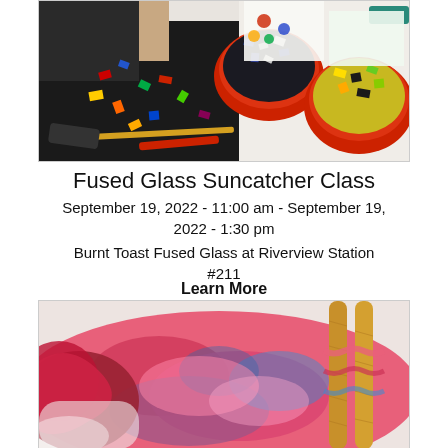[Figure (photo): Overhead view of a person working on a fused glass mosaic project with colorful glass pieces in red bowls on a black cutting mat]
Fused Glass Suncatcher Class
September 19, 2022 - 11:00 am - September 19, 2022 - 1:30 pm
Burnt Toast Fused Glass at Riverview Station #211
Learn More
[Figure (photo): Close-up of colorful chunky knit yarn in pink, red, blue, and purple tones with wooden knitting needles]